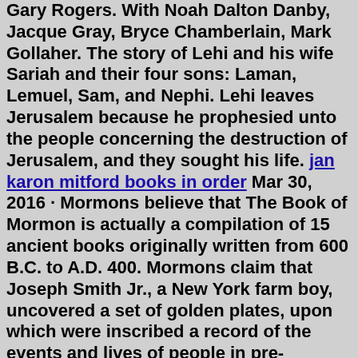Gary Rogers. With Noah Dalton Danby, Jacque Gray, Bryce Chamberlain, Mark Gollaher. The story of Lehi and his wife Sariah and their four sons: Laman, Lemuel, Sam, and Nephi. Lehi leaves Jerusalem because he prophesied unto the people concerning the destruction of Jerusalem, and they sought his life. jan karon mitford books in order Mar 30, 2016 · Mormons believe that The Book of Mormon is actually a compilation of 15 ancient books originally written from 600 B.C. to A.D. 400. Mormons claim that Joseph Smith Jr., a New York farm boy, uncovered a set of golden plates, upon which were inscribed a record of the events and lives of people in pre-Columbian America. Through instruction from an Angel named Moroni, Joseph Smith found and then translated the Book of Mormon, a record of ancient inhabitants of the Americas. The Book of Mormon peoples were descendants of Jacob, who were led out of Jerusalem at the time of the Babylonian captivity.The word grace, as used in the scriptures, refers primarily to enabling power and